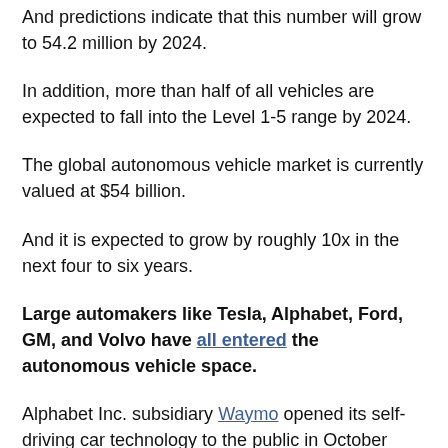And predictions indicate that this number will grow to 54.2 million by 2024.
In addition, more than half of all vehicles are expected to fall into the Level 1-5 range by 2024.
The global autonomous vehicle market is currently valued at $54 billion.
And it is expected to grow by roughly 10x in the next four to six years.
Large automakers like Tesla, Alphabet, Ford, GM, and Volvo have all entered the autonomous vehicle space.
Alphabet Inc. subsidiary Waymo opened its self-driving car technology to the public in October 2020 by starting a